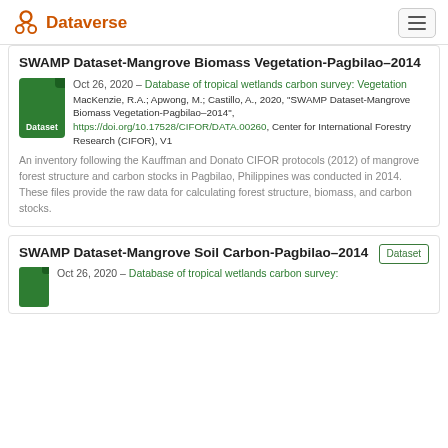Dataverse
SWAMP Dataset-Mangrove Biomass Vegetation-Pagbilao–2014
Oct 26, 2020 – Database of tropical wetlands carbon survey: Vegetation
MacKenzie, R.A.; Apwong, M.; Castillo, A., 2020, "SWAMP Dataset-Mangrove Biomass Vegetation-Pagbilao–2014", https://doi.org/10.17528/CIFOR/DATA.00260, Center for International Forestry Research (CIFOR), V1
An inventory following the Kauffman and Donato CIFOR protocols (2012) of mangrove forest structure and carbon stocks in Pagbilao, Philippines was conducted in 2014. These files provide the raw data for calculating forest structure, biomass, and carbon stocks.
SWAMP Dataset-Mangrove Soil Carbon-Pagbilao–2014
Oct 26, 2020 – Database of tropical wetlands carbon survey: